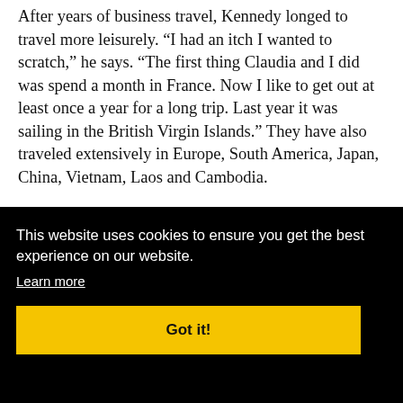After years of business travel, Kennedy longed to travel more leisurely. “I had an itch I wanted to scratch,” he says. “The first thing Claudia and I did was spend a month in France. Now I like to get out at least once a year for a long trip. Last year it was sailing in the British Virgin Islands.” They have also traveled extensively in Europe, South America, Japan, China, Vietnam, Laos and Cambodia.
[Figure (photo): Partial photo of two people, only the tops of their heads visible at the bottom of the article section before the cookie banner overlaps.]
This website uses cookies to ensure you get the best experience on our website.
Learn more
Got it!